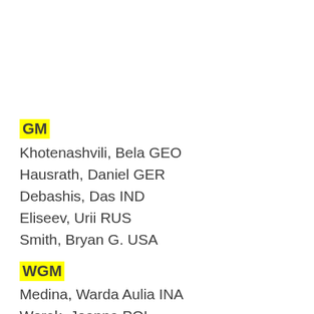GM
Khotenashvili, Bela GEO
Hausrath, Daniel GER
Debashis, Das IND
Eliseev, Urii RUS
Smith, Bryan G. USA
WGM
Medina, Warda Aulia INA
Worek, Joanna POL
IM
Barrero Garcia, Carlos ESP
Cotonnec, Melkior FRA
Becking, Stephan GER